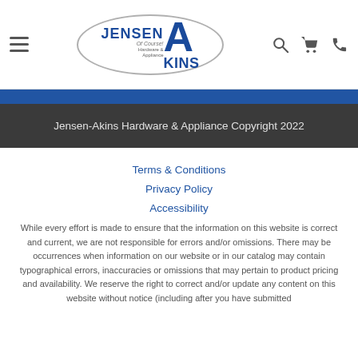[Figure (logo): Jensen-Akins Hardware & Appliance logo inside an oval, with hamburger menu icon on the left and search, cart, phone icons on the right]
Jensen-Akins Hardware & Appliance Copyright 2022
Terms & Conditions
Privacy Policy
Accessibility
While every effort is made to ensure that the information on this website is correct and current, we are not responsible for errors and/or omissions. There may be occurrences when information on our website or in our catalog may contain typographical errors, inaccuracies or omissions that may pertain to product pricing and availability. We reserve the right to correct and/or update any content on this website without notice (including after you have submitted